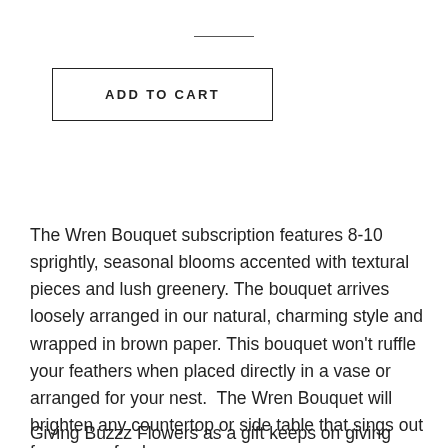ADD TO CART
The Wren Bouquet subscription features 8-10 sprightly, seasonal blooms accented with textural pieces and lush greenery. The bouquet arrives loosely arranged in our natural, charming style and wrapped in brown paper. This bouquet won’t ruffle your feathers when placed directly in a vase or arranged for your nest.  The Wren Bouquet will brighten any countertop or side table that sings out for a pop of color.
Giving Buzzz Flowers as a gift keeps on giving